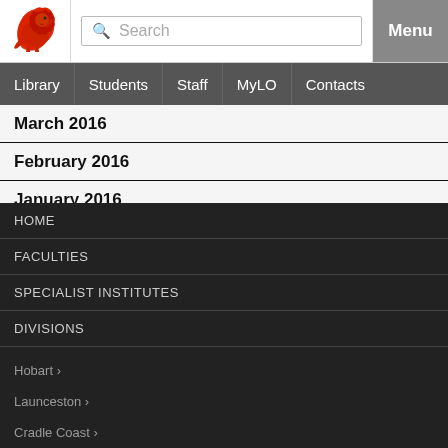[Figure (logo): University of Tasmania red lion logo]
Search | Menu
Library | Students | Staff | MyLO | Contacts
March 2016
February 2016
January 2016
HOME
FACULTIES
SPECIALIST INSTITUTES
DIVISIONS
Hobart ›
Launceston ›
Cradle Coast ›